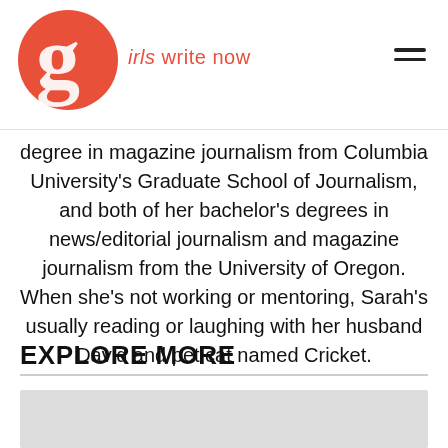girls write now
degree in magazine journalism from Columbia University’s Graduate School of Journalism, and both of her bachelor’s degrees in news/editorial journalism and magazine journalism from the University of Oregon. When she’s not working or mentoring, Sarah’s usually reading or laughing with her husband David and pet cat named Cricket.
EXPLORE MORE
[Figure (photo): Gray image placeholder for an explore-more card]